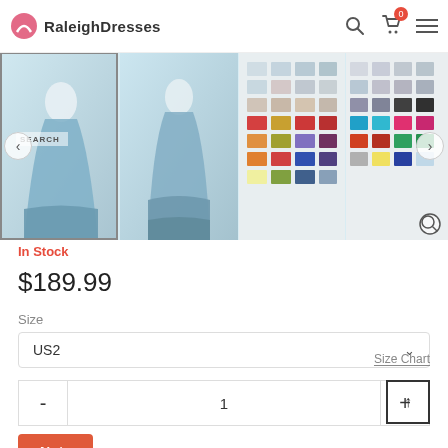RaleighDresses
[Figure (photo): Product page image gallery showing two views of a light blue layered mermaid/trumpet gown and two color swatch charts. Navigation arrows visible on left and right. SEARCH text overlay visible on first thumbnail.]
In Stock
$189.99
Size
US2
1
Size Chart
Note
Additional comments